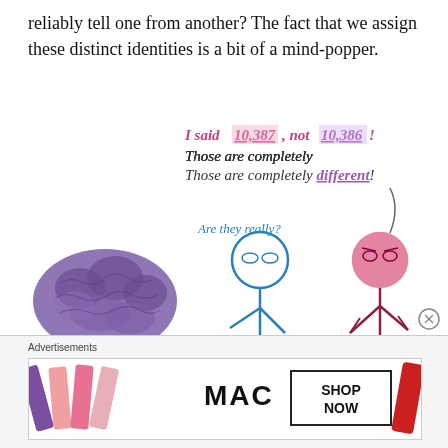reliably tell one from another? The fact that we assign these distinct identities is a bit of a mind-popper.
[Figure (illustration): Hand-drawn illustration showing a purple brain blob on the left, a blue stick figure in the center asking 'Are they really?', and a pink stick figure on the right saying 'I said 10,387, not 10,386! Those are completely different!']
Advertisements
[Figure (photo): MAC cosmetics advertisement showing lipsticks and 'SHOP NOW' button]